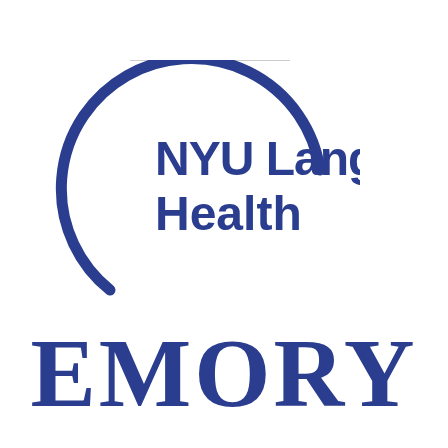[Figure (logo): NYU Langone Health logo with partial circle arc and bold blue text]
[Figure (logo): Emory University wordmark in large bold blue serif font]